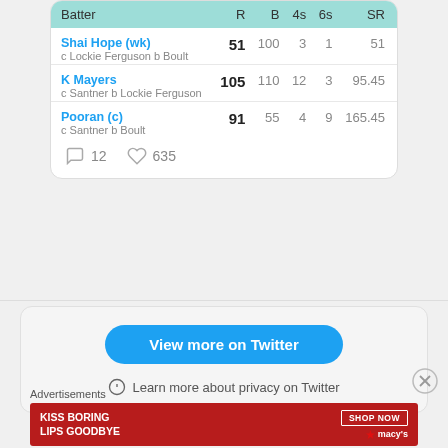| Batter | R | B | 4s | 6s | SR |
| --- | --- | --- | --- | --- | --- |
| Shai Hope (wk)
c Lockie Ferguson b Boult | 51 | 100 | 3 | 1 | 51 |
| K Mayers
c Santner b Lockie Ferguson | 105 | 110 | 12 | 3 | 95.45 |
| Pooran (c)
c Santner b Boult | 91 | 55 | 4 | 9 | 165.45 |
12 comments · 635 likes
View more on Twitter
Learn more about privacy on Twitter
Advertisements
[Figure (photo): Macy's ad: KISS BORING LIPS GOODBYE with SHOP NOW button and Macy's star logo on red background]